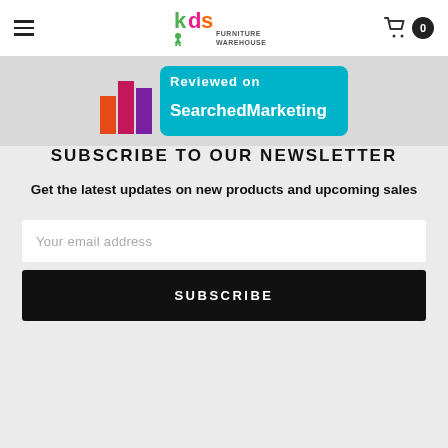KDS Furniture Warehouse — navigation header with hamburger menu and cart (0 items)
[Figure (screenshot): SearchedMarketing banner advertisement with bar chart logo and teal background]
SUBSCRIBE TO OUR NEWSLETTER
Get the latest updates on new products and upcoming sales
Your email address
SUBSCRIBE